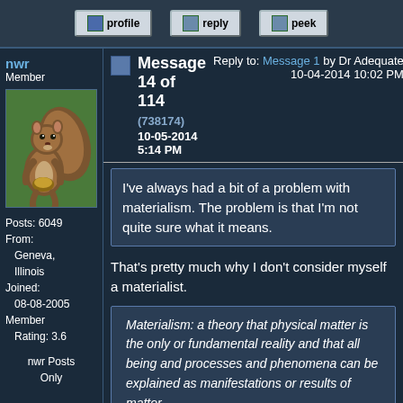profile | reply | peek
nwr
Member
[Figure (photo): Photo of a squirrel holding a nut, standing upright against a green background]
Posts: 6049
From:
    Geneva,
    Illinois
Joined:
    08-08-2005
Member
    Rating: 3.6

nwr Posts
    Only
Message 14 of 114 (738174)
10-05-2014 5:14 PM
Reply to: Message 1 by Dr Adequate
10-04-2014 10:02 PM
I've always had a bit of a problem with materialism. The problem is that I'm not quite sure what it means.
That's pretty much why I don't consider myself a materialist.
Materialism: a theory that physical matter is the only or fundamental reality and that all being and processes and phenomena can be explained as manifestations or results of matter.
I take materialism to be a philosophy, rather than a theory.
Mathematics does not seem to be material. Some materialists say that mathematics is